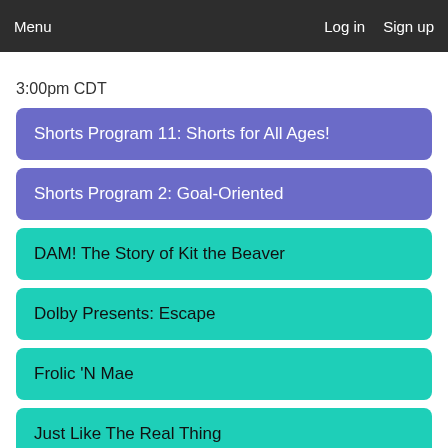Menu   Log in   Sign up
3:00pm CDT
Shorts Program 11: Shorts for All Ages!
Shorts Program 2: Goal-Oriented
DAM! The Story of Kit the Beaver
Dolby Presents: Escape
Frolic 'N Mae
Just Like The Real Thing
Lawn